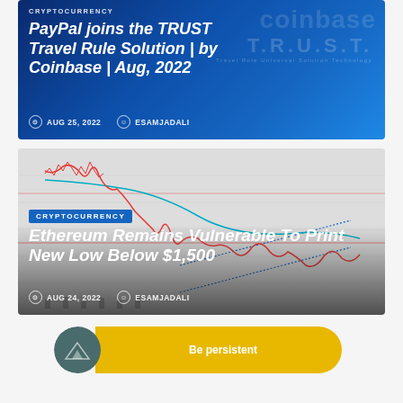[Figure (screenshot): Article card with dark blue gradient background showing Coinbase watermark and T.R.U.S.T. text. Article titled 'PayPal joins the TRUST Travel Rule Solution | by Coinbase | Aug, 2022'. Category: CRYPTOCURRENCY. Date: AUG 25, 2022. Author: ESAMJADALI.]
[Figure (screenshot): Article card with cryptocurrency chart background (candlestick/line chart showing Ethereum price). Category: CRYPTOCURRENCY. Title: 'Ethereum Remains Vulnerable To Print New Low Below $1,500'. Date: AUG 24, 2022. Author: ESAMJADALI.]
[Figure (illustration): Advertisement button: dark teal circle with mountain icon on left, yellow pill-shaped button with text 'Be persistent' on right.]